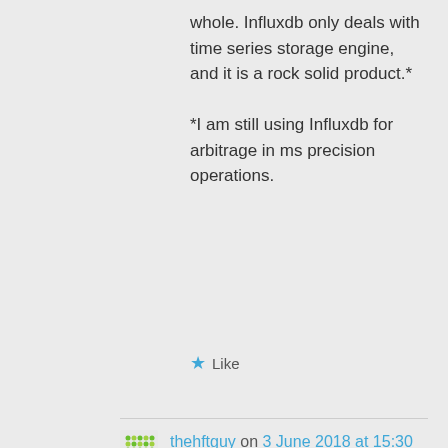whole. Influxdb only deals with time series storage engine, and it is a rock solid product.*

*I am still using Influxdb for arbitrage in ms precision operations.
★ Like
thehftguy on 3 June 2018 at 15:30